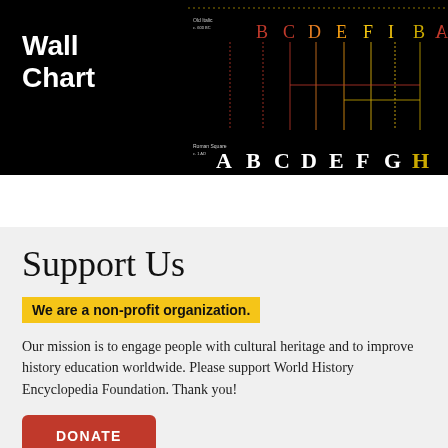[Figure (illustration): Wall Chart promotional banner on black background showing historical alphabet evolution with letters A B C D E F G H in Roman Square style at bottom and older forms above, with colorful connecting lines]
Support Us
We are a non-profit organization.
Our mission is to engage people with cultural heritage and to improve history education worldwide. Please support World History Encyclopedia Foundation. Thank you!
DONATE